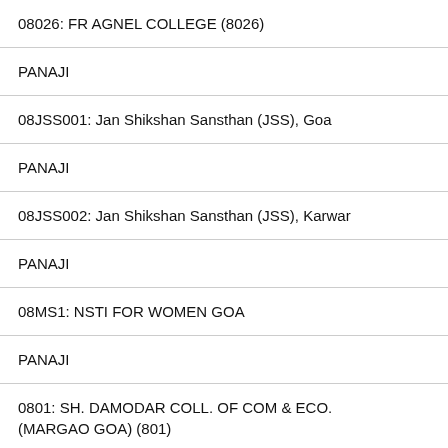08026: FR AGNEL COLLEGE (8026)
PANAJI
08JSS001: Jan Shikshan Sansthan (JSS), Goa
PANAJI
08JSS002: Jan Shikshan Sansthan (JSS), Karwar
PANAJI
08MS1: NSTI FOR WOMEN GOA
PANAJI
0801: SH. DAMODAR COLL. OF COM & ECO. (MARGAO GOA) (801)
PANAJI
08033: VIDYA PRABODINI COLLEGE OF